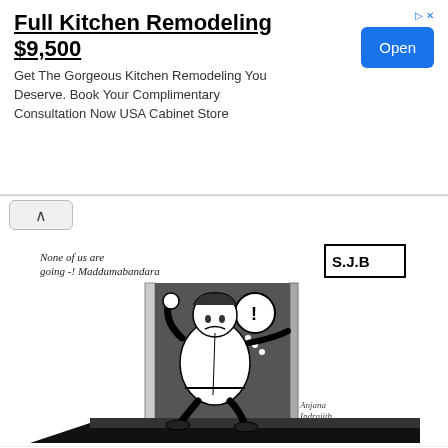[Figure (other): Advertisement banner for Full Kitchen Remodeling $9,500 with Open button]
[Figure (illustration): Political cartoon showing a portly man being pushed out of a door labeled S.J.B, with handwritten text 'None of us are going -! Maddumabandara'. Signed by Anjana Indrajith.]
Cartoon of the day
2022-08-19 19:30:00